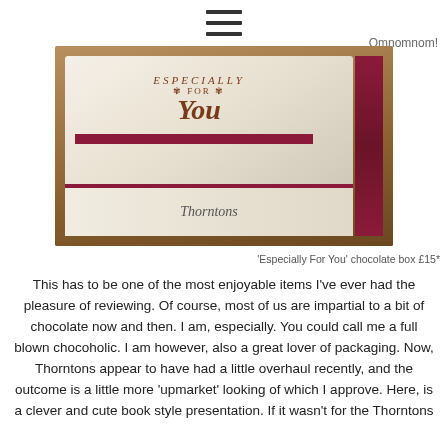Omnomnom!
[Figure (photo): A Thorntons 'Especially For You' chocolate box styled as a book, photographed at an angle on a wooden surface. The white box features red/maroon decorative stripes and the text 'Especially For You' in ornate typography on top, with 'Thorntons' in script on the side.]
'Especially For You' chocolate box £15*
This has to be one of the most enjoyable items I've ever had the pleasure of reviewing. Of course, most of us are impartial to a bit of chocolate now and then. I am, especially. You could call me a full blown chocoholic. I am however, also a great lover of packaging. Now, Thorntons appear to have had a little overhaul recently, and the outcome is a little more 'upmarket' looking of which I approve. Here, is a clever and cute book style presentation. If it wasn't for the Thorntons